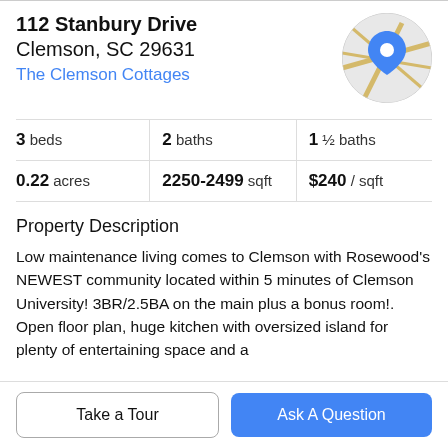112 Stanbury Drive
Clemson, SC 29631
The Clemson Cottages
[Figure (map): Circular map thumbnail showing street map with a blue location pin marker]
3 beds | 2 baths | 1 ½ baths
0.22 acres | 2250-2499 sqft | $240 / sqft
Property Description
Low maintenance living comes to Clemson with Rosewood's NEWEST community located within 5 minutes of Clemson University! 3BR/2.5BA on the main plus a bonus room!. Open floor plan, huge kitchen with oversized island for plenty of entertaining space and a